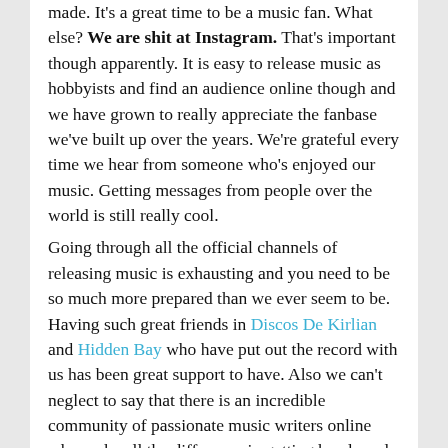made. It's a great time to be a music fan. What else? We are shit at Instagram. That's important though apparently. It is easy to release music as hobbyists and find an audience online though and we have grown to really appreciate the fanbase we've built up over the years. We're grateful every time we hear from someone who's enjoyed our music. Getting messages from people over the world is still really cool.
Going through all the official channels of releasing music is exhausting and you need to be so much more prepared than we ever seem to be. Having such great friends in Discos De Kirlian and Hidden Bay who have put out the record with us has been great support to have. Also we can't neglect to say that there is an incredible community of passionate music writers online who make all the difference in getting bands and new and old music heard. We have always been passionately DIY and I think that's very much a prerequisite these days. Or we really need to stop trying to